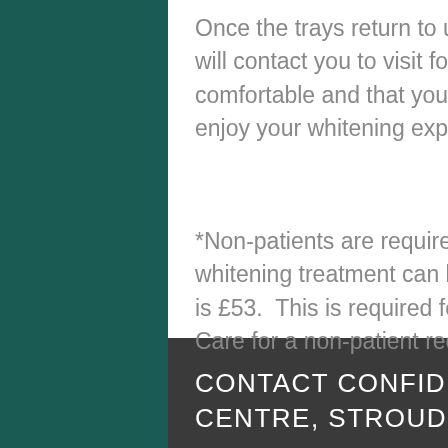Once the trays return to us at the practice (usually 2 weeks), we will contact you to visit for a final time to ensure that your trays are comfortable and that you are given all the information you need to enjoy your whitening experience!
*Non-patients are required to attend a paid dental check-up before whitening treatment can be prescribed.  The cost of this check-up is £53.  This is required for any procedure at Confident Dental Care for a non-patient receiving treatment.
CONTACT CONFIDENT DENTAL IMPLANTS CENTRE, STROUD